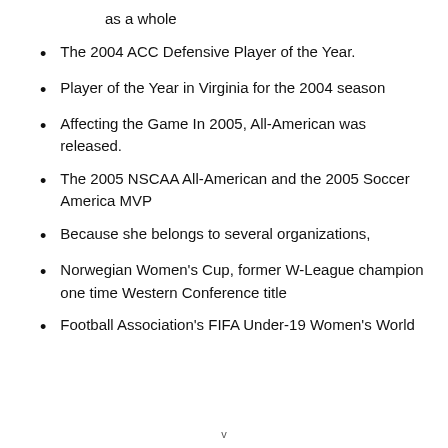as a whole
The 2004 ACC Defensive Player of the Year.
Player of the Year in Virginia for the 2004 season
Affecting the Game In 2005, All-American was released.
The 2005 NSCAA All-American and the 2005 Soccer America MVP
Because she belongs to several organizations,
Norwegian Women's Cup, former W-League champion one time Western Conference title
Football Association's FIFA Under-19 Women's World